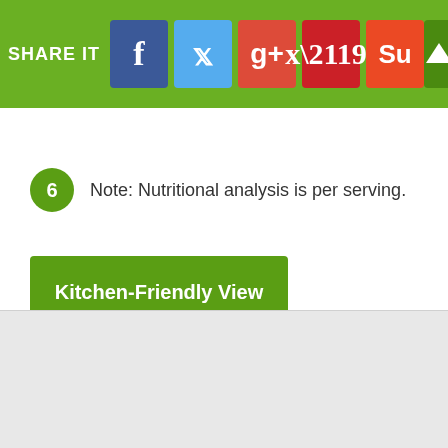SHARE IT
6  Note: Nutritional analysis is per serving.
Kitchen-Friendly View